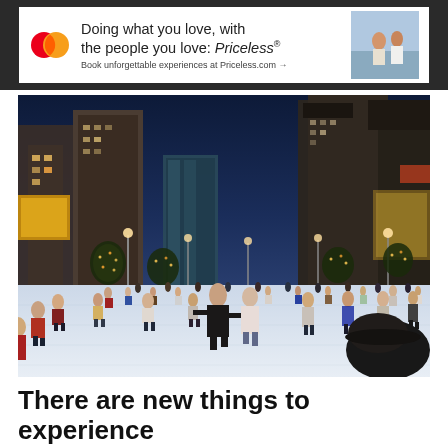[Figure (illustration): Mastercard advertisement banner: red and orange overlapping circles Mastercard logo on left; headline text 'Doing what you love, with the people you love: Priceless®' with subtext 'Book unforgettable experiences at Priceless.com →'; photo of two people on right side.]
[Figure (photo): Nighttime photo of an outdoor ice skating rink surrounded by tall city buildings (Chicago Millennium Park area). Many people are skating on a large white ice surface. Trees decorated with warm lights line the rink. Dark blue evening sky above skyscrapers.]
There are new things to experience each season